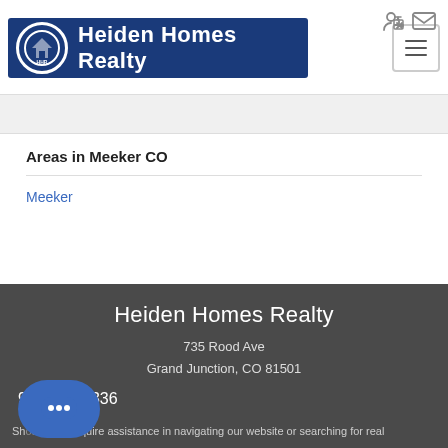[Figure (logo): Heiden Homes Realty logo — dark blue rectangle with circular HHR emblem and white text]
Areas in Meeker CO
Meeker
Heiden Homes Realty
735 Rood Ave
Grand Junction, CO 81501
970-208-2336
Should you require assistance in navigating our website or searching for real